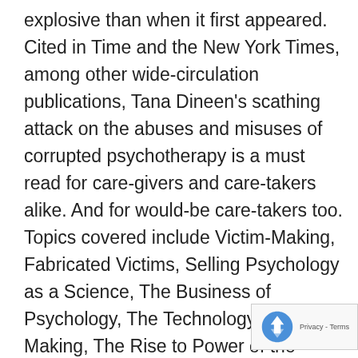explosive than when it first appeared. Cited in Time and the New York Times, among other wide-circulation publications, Tana Dineen's scathing attack on the abuses and misuses of corrupted psychotherapy is a must read for care-givers and care-takers alike. And for would-be care-takers too. Topics covered include Victim-Making, Fabricated Victims, Selling Psychology as a Science, The Business of Psychology, The Technology of Victim-Making, The Rise to Power of the Psychology Industry, and Living in the Shadow of the Psychology Industry. Fully supported by end of book notes and index, and with a suggested reading list, this is one of the most important books on psychology to appear in recent years. The author has been often–and always unsuccessfully–attacked by representatives of